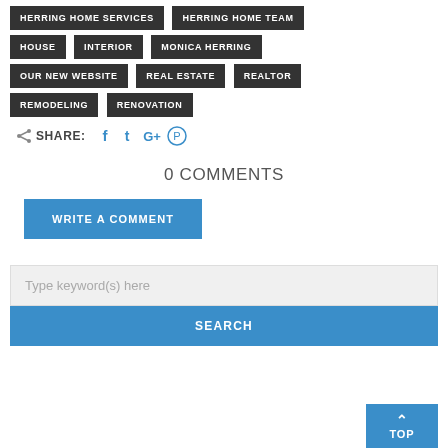HERRING HOME SERVICES
HERRING HOME TEAM
HOUSE
INTERIOR
MONICA HERRING
OUR NEW WEBSITE
REAL ESTATE
REALTOR
REMODELING
RENOVATION
SHARE: f t G+ P
0 COMMENTS
WRITE A COMMENT
Type keyword(s) here
SEARCH
TOP